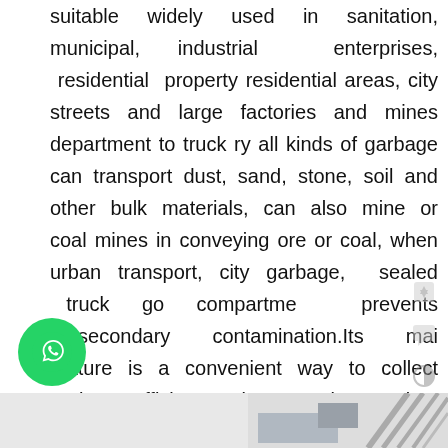suitable widely used in sanitation, municipal, industrial enterprises, residential property residential areas, city streets and large factories and mines department to truck ry all kinds of garbage can transport dust, sand, stone, soil and other bulk materials, can also mine or coal mines in conveying ore or coal, when urban transport, city garbage, sealed truck go compartme prevents secondary contamination.Its mai feature is a convenient way to collect garbage efficient.Environmental protection, high efficiency e.